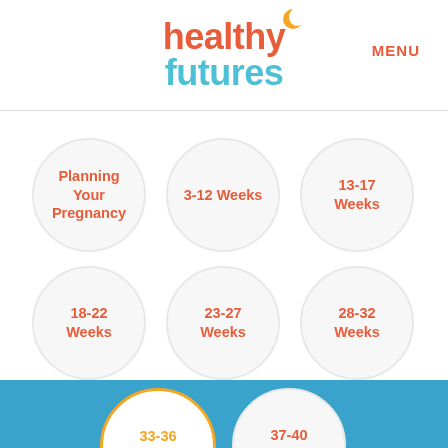[Figure (logo): Healthy Futures logo with moon icon, orange 'healthy' text and teal 'futures' text]
MENU
Planning Your Pregnancy
3-12 Weeks
13-17 Weeks
18-22 Weeks
23-27 Weeks
28-32 Weeks
33-36 Weeks
37-40 Weeks